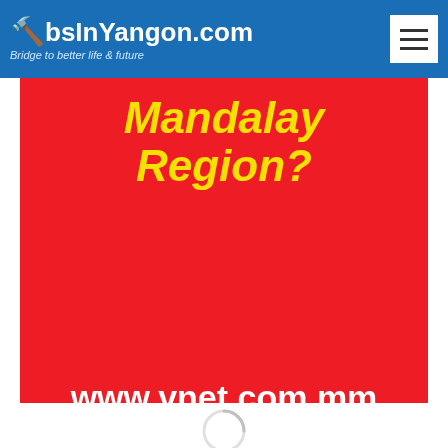JobsInYangon.com — Bridge to better life & future
[Figure (screenshot): Red promotional banner showing 'Mandalay Region?' text in yellow italic bold, and website URL 'www.vnet.com.mm' in white bold on red background]
WHO WE ARE
Jobsinyangon.com is a leading Career and Job site in Myanmar. Jobsinyangon presents the largest porfolio of jobs on Myanmar market, thus helping recruiters to source top talents and job seekers available in Myanmar. Jobsinyangon.com job board helps hiring managers and recruiters from all companies in Myanmar to post jobs, manage applicants and make